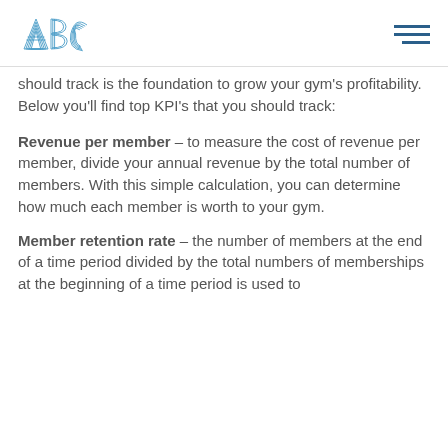ABC logo and navigation menu
should track is the foundation to grow your gym's profitability. Below you'll find top KPI's that you should track:
Revenue per member – to measure the cost of revenue per member, divide your annual revenue by the total number of members. With this simple calculation, you can determine how much each member is worth to your gym.
Member retention rate – the number of members at the end of a time period divided by the total numbers of memberships at the beginning of a time period is used to